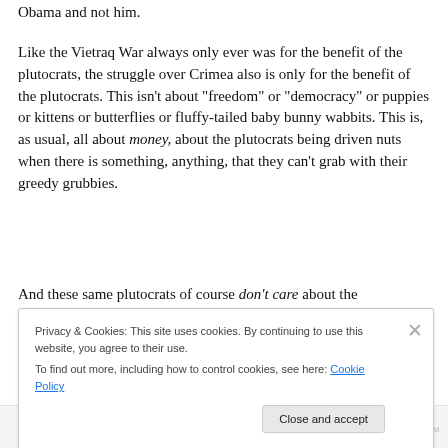Obama and not him.
Like the Vietraq War always only ever was for the benefit of the plutocrats, the struggle over Crimea also is only for the benefit of the plutocrats. This isn't about “freedom” or “democracy” or puppies or kittens or butterflies or fluffy-tailed baby bunny wabbits. This is, as usual, all about money, about the plutocrats being driven nuts when there is something, anything, that they can’t grab with their greedy grubbies.
And these same plutocrats of course don’t care about the
Privacy & Cookies: This site uses cookies. By continuing to use this website, you agree to their use.
To find out more, including how to control cookies, see here: Cookie Policy